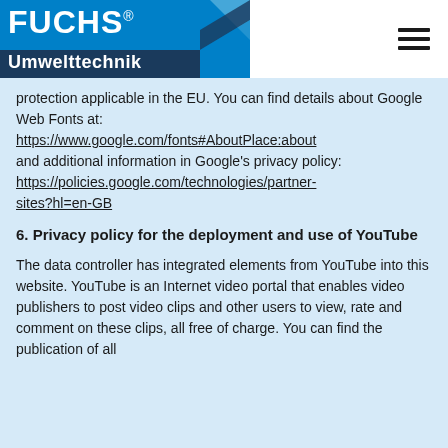FUCHS Umwelttechnik
protection applicable in the EU. You can find details about Google Web Fonts at: https://www.google.com/fonts#AboutPlace:about and additional information in Google's privacy policy: https://policies.google.com/technologies/partner-sites?hl=en-GB
6. Privacy policy for the deployment and use of YouTube
The data controller has integrated elements from YouTube into this website. YouTube is an Internet video portal that enables video publishers to post video clips and other users to view, rate and comment on these clips, all free of charge. YouTube allows the publication of all...